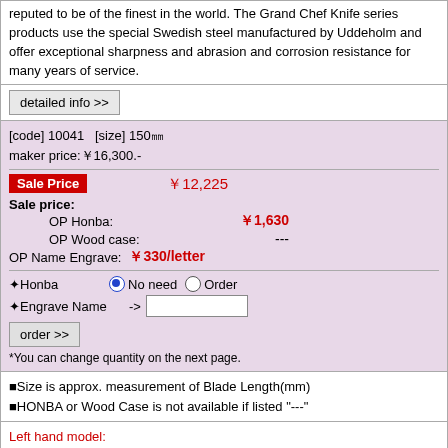reputed to be of the finest in the world. The Grand Chef Knife series products use the special Swedish steel manufactured by Uddeholm and offer exceptional sharpness and abrasion and corrosion resistance for many years of service.
detailed info >>
[code] 10041   [size] 150㎜
maker price:￥16,300.-
Sale Price
￥12,225
Sale price:
OP Honba: ￥1,630
OP Wood case: ---
OP Name Engrave: ￥330/letter
✦Honba   ● No need  ○ Order
✦Engrave Name -> [input]
order >>
*You can change quantity on the next page.
■Size is approx. measurement of Blade Length(mm)
■HONBA or Wood Case is not available if listed "---"
Left hand model:
Please send us an e-mail to order. We will re-sharpen the edge for left-hand. The price is 20% more.
The price indicated is TAX FREE PRICE.